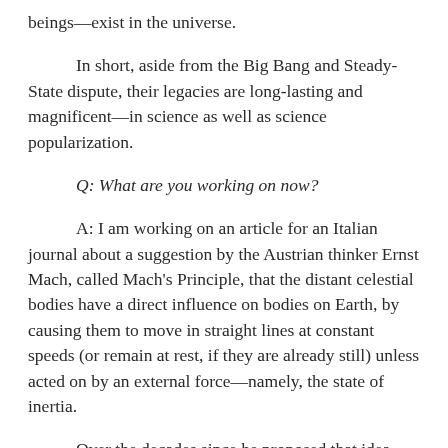beings—exist in the universe.
In short, aside from the Big Bang and Steady-State dispute, their legacies are long-lasting and magnificent—in science as well as science popularization.
Q: What are you working on now?
A: I am working on an article for an Italian journal about a suggestion by the Austrian thinker Ernst Mach, called Mach's Principle, that the distant celestial bodies have a direct influence on bodies on Earth, by causing them to move in straight lines at constant speeds (or remain at rest, if they are already still) unless acted on by an external force—namely, the state of inertia.
Over the decades since he proposed that idea, there have been many schemes by Einstein, Dirac, Hoyle and others to try to get that idea to work. I'll discuss what